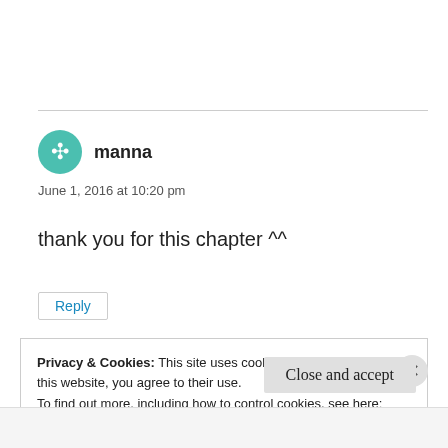manna
June 1, 2016 at 10:20 pm
thank you for this chapter ^^
Reply
Privacy & Cookies: This site uses cookies. By continuing to use this website, you agree to their use.
To find out more, including how to control cookies, see here:
Cookie Policy
Close and accept